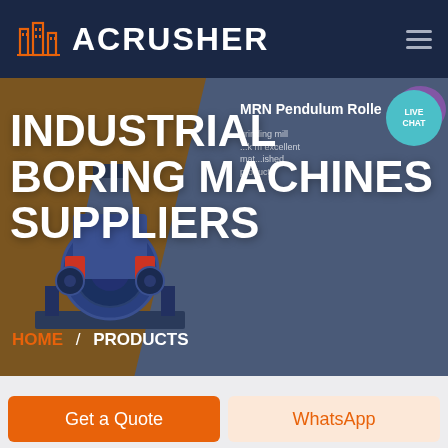[Figure (logo): ACRUSHER brand logo with orange building/factory icon and white text on dark navy background, with hamburger menu icon]
[Figure (screenshot): Hero banner showing industrial crushing machine on left (brown/tan background) and slate-blue right panel with 'MRN Pendulum Roller' slide caption. Main bold white text reads INDUSTRIAL BORING MACHINES SUPPLIERS with breadcrumb HOME / PRODUCTS. Live chat teal circle button in top right.]
INDUSTRIAL BORING MACHINES SUPPLIERS
HOME / PRODUCTS
MRN Pendulum Rolle
Get a Quote
WhatsApp